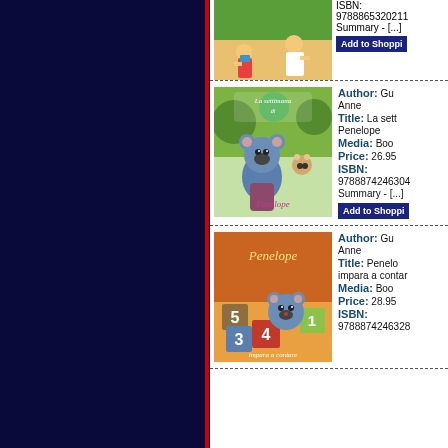[Figure (illustration): Book entry partial at top: book cover with children illustration, partially visible. ISBN: 9788865320211. Summary - [...]. Add to Shopping button.]
[Figure (illustration): Book cover for 'La settimana di Penelope' showing a blue koala character with a small animal, colorful background.]
Author: Gu Anne
Title: La sett Penelope
Media: Boo
Price: 26.95
ISBN: 9788874246304
Summary - [...]
[Figure (illustration): Book cover for 'Penelope impara a contare' showing blue koala character with number blocks 5, 3, 4, 1.]
Author: Gu Anne
Title: Penelo impara a contar
Media: Boo
Price: 28.95
ISBN: 9788874246328